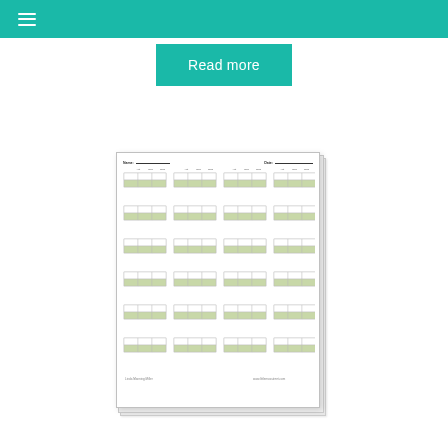Read more
[Figure (illustration): A worksheet document showing a grid-based math or tally tracking sheet with Name and Date fields at top, four columns of small 2-row grids with green highlighted middle rows, repeated across 6 rows of grid groups. Footer shows small text.]